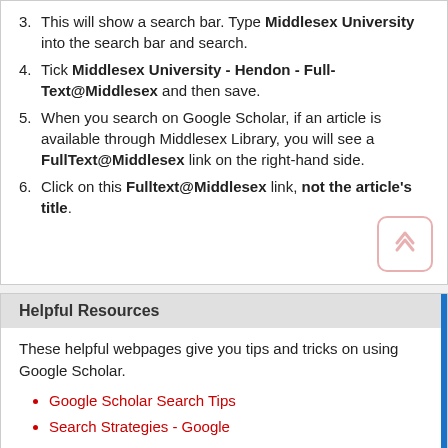3. This will show a search bar. Type Middlesex University into the search bar and search.
4. Tick Middlesex University - Hendon - Full-Text@Middlesex and then save.
5. When you search on Google Scholar, if an article is available through Middlesex Library, you will see a FullText@Middlesex link on the right-hand side.
6. Click on this Fulltext@Middlesex link, not the article's title.
Helpful Resources
These helpful webpages give you tips and tricks on using Google Scholar.
Google Scholar Search Tips
Search Strategies - Google
Search Strategies - Google Commands
Search Strategies - Top Tips